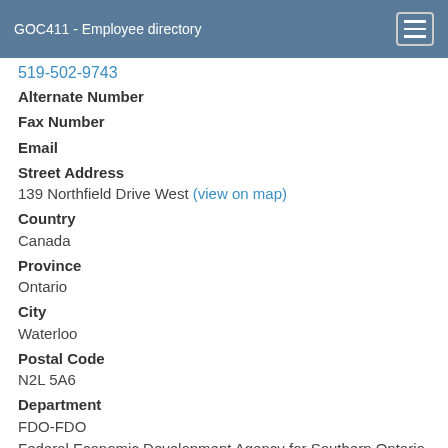GOC411 - Employee directory
519-502-9743
Alternate Number
Fax Number
Email
Street Address
139 Northfield Drive West (view on map)
Country
Canada
Province
Ontario
City
Waterloo
Postal Code
N2L 5A6
Department
FDO-FDO
Federal Economic Development Agency for Southern Ontario
Organization
FDO-FDO
Federal Economic Development Agency for Southern Ontario